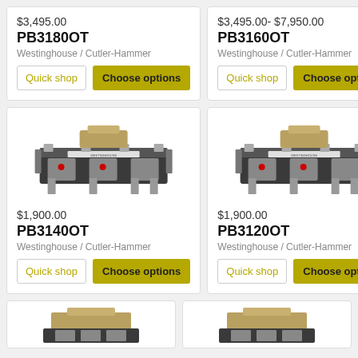$3,495.00
PB3180OT
Westinghouse / Cutler-Hammer
$3,495.00- $7,950.00
PB3160OT
Westinghouse / Cutler-Hammer
[Figure (photo): Industrial electrical contactor/relay component, black and silver metal, three-phase]
$1,900.00
PB3140OT
Westinghouse / Cutler-Hammer
[Figure (photo): Industrial electrical contactor/relay component, black and silver metal, three-phase]
$1,900.00
PB3120OT
Westinghouse / Cutler-Hammer
[Figure (photo): Partial view of industrial electrical component at bottom of page]
[Figure (photo): Partial view of industrial electrical component at bottom of page]